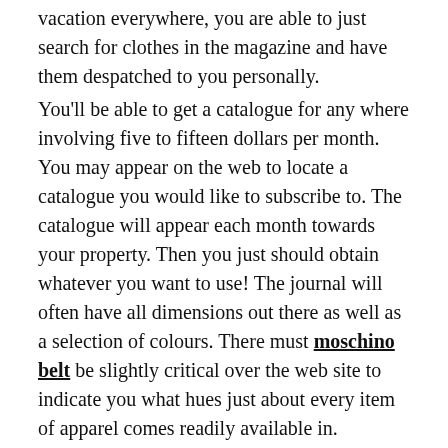vacation everywhere, you are able to just search for clothes in the magazine and have them despatched to you personally. You'll be able to get a catalogue for any where involving five to fifteen dollars per month. You may appear on the web to locate a catalogue you would like to subscribe to. The catalogue will appear each month towards your property. Then you just should obtain whatever you want to use! The journal will often have all dimensions out there as well as a selection of colours. There must moschino belt be slightly critical over the web site to indicate you what hues just about every item of apparel comes readily available in. You'll find women's clothes catalogues for all several types of outfits. It is possible to come across catalogues for certain retailers. You'll be able to obtain catalogues for attire, skirts, tops, shoes, accessories, and lingerie. All of your buying that you